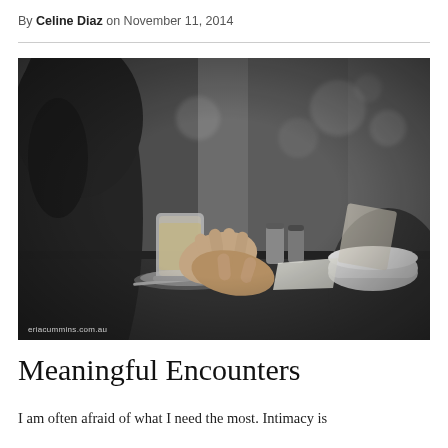By Celine Diaz on November 11, 2014
[Figure (photo): Black and white photograph of two people holding hands at a café table, with a latte glass and cup and saucer visible. Bokeh background with café setting. Watermark: eriacummins.com.au]
Meaningful Encounters
I am often afraid of what I need the most. Intimacy is